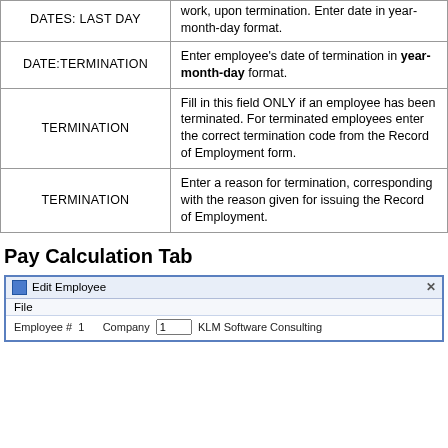| Field | Description |
| --- | --- |
| DATES: LAST DAY | work, upon termination. Enter date in year-month-day format. |
| DATE:TERMINATION | Enter employee's date of termination in year-month-day format. |
| TERMINATION | Fill in this field ONLY if an employee has been terminated. For terminated employees enter the correct termination code from the Record of Employment form. |
| TERMINATION | Enter a reason for termination, corresponding with the reason given for issuing the Record of Employment. |
Pay Calculation Tab
[Figure (screenshot): Edit Employee dialog box screenshot showing titlebar with close button, File menu, and Employee# field with Company field showing '1' and 'KLM Software Consulting']